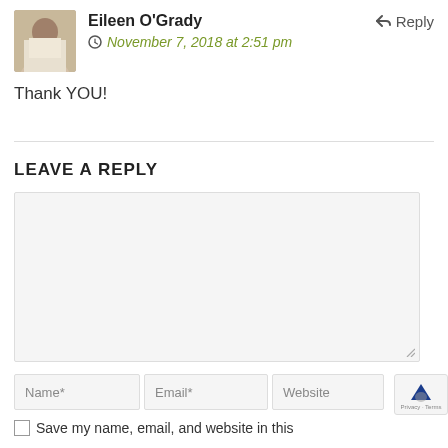Eileen O'Grady — Reply
November 7, 2018 at 2:51 pm
Thank YOU!
LEAVE A REPLY
[Comment textarea]
Name*   Email*   Website
Save my name, email, and website in this